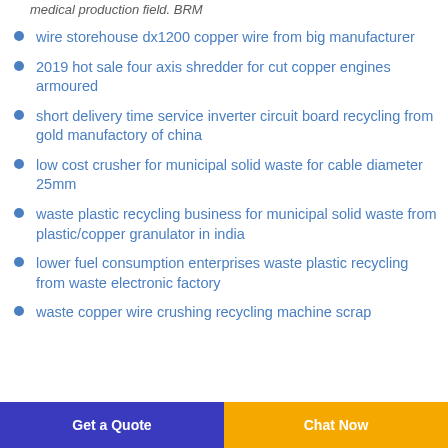medical production field. BRM
wire storehouse dx1200 copper wire from big manufacturer
2019 hot sale four axis shredder for cut copper engines armoured
short delivery time service inverter circuit board recycling from gold manufactory of china
low cost crusher for municipal solid waste for cable diameter 25mm
waste plastic recycling business for municipal solid waste from plastic/copper granulator in india
lower fuel consumption enterprises waste plastic recycling from waste electronic factory
waste copper wire crushing recycling machine scrap
Get a Quote   Chat Now